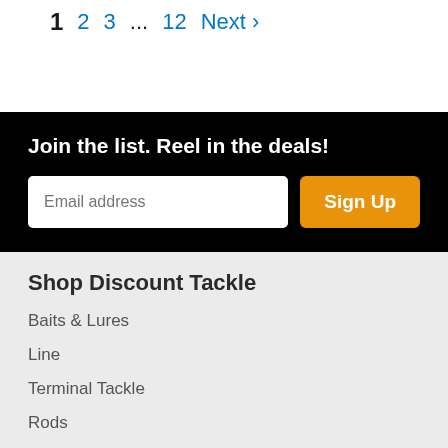1  2  3  ...  12  Next ›
Join the list. Reel in the deals!
Shop Discount Tackle
Baits & Lures
Line
Terminal Tackle
Rods
Reels
Accessories
Apparel